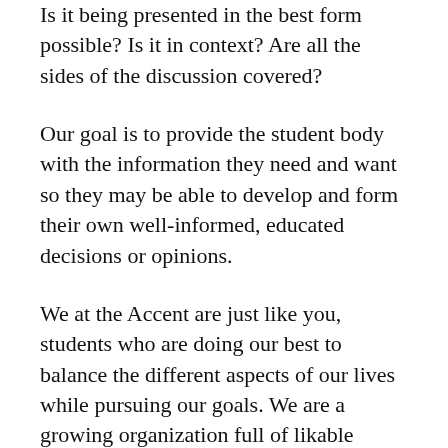Is it being presented in the best form possible? Is it in context? Are all the sides of the discussion covered?
Our goal is to provide the student body with the information they need and want so they may be able to develop and form their own well-informed, educated decisions or opinions.
We at the Accent are just like you, students who are doing our best to balance the different aspects of our lives while pursuing our goals. We are a growing organization full of likable individuals, curious of the little world we have here at ACC.
If you should meet one of us covering a school